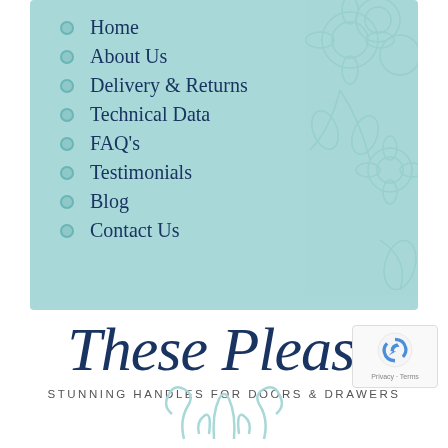Home
About Us
Delivery & Returns
Technical Data
FAQ's
Testimonials
Blog
Contact Us
These Please
STUNNING HANDLES FOR DOORS & DRAWERS
[Figure (illustration): Decorative teal floral pattern at bottom of page and recaptcha badge]